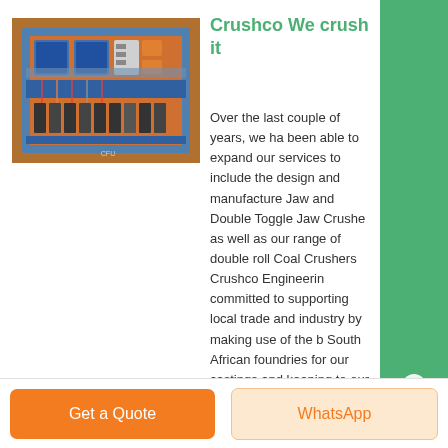[Figure (photo): Industrial electrical control panel with blue and orange components, wiring, and circuit breakers mounted on a blue frame]
Crushco We crush it
Over the last couple of years, we have been able to expand our services to include the design and manufacture of Jaw and Double Toggle Jaw Crushers as well as our range of double roll Coal Crushers Crushco Engineering is committed to supporting local trade and industry by making use of the best South African foundries for our castings and keeping to our promise of no ,...
More Informations